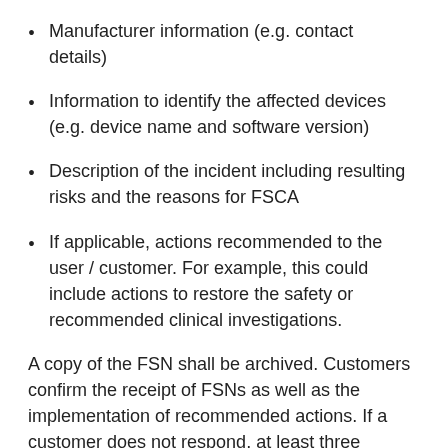Manufacturer information (e.g. contact details)
Information to identify the affected devices (e.g. device name and software version)
Description of the incident including resulting risks and the reasons for FSCA
If applicable, actions recommended to the user / customer. For example, this could include actions to restore the safety or recommended clinical investigations.
A copy of the FSN shall be archived. Customers confirm the receipt of FSNs as well as the implementation of recommended actions. If a customer does not respond, at least three attempts for delivery should be made. It is also documented as part of the CAPA if all attempts to inform a